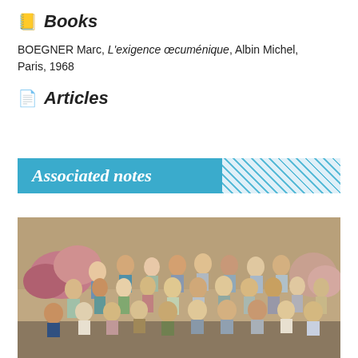📒 Books
BOEGNER Marc, L'exigence œcuménique, Albin Michel, Paris, 1968
📄 Articles
Associated notes
[Figure (photo): Group photo of approximately 30-35 people posed together outdoors in front of a stone wall with flowers, arranged in several rows]